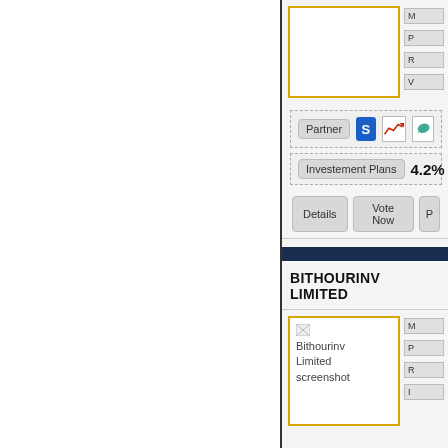[Figure (screenshot): Top portion of a finance/investment listing website showing a card with a yellow-bordered image placeholder, partner icons (S logo, chart icon, leaf icon), Investment Plans label with 4.2% rate, and Details/Vote Now buttons]
BITHOURINV LIMITED
[Figure (screenshot): Bottom card showing Bithourinv Limited screenshot placeholder image with yellow border, and right-side label boxes]